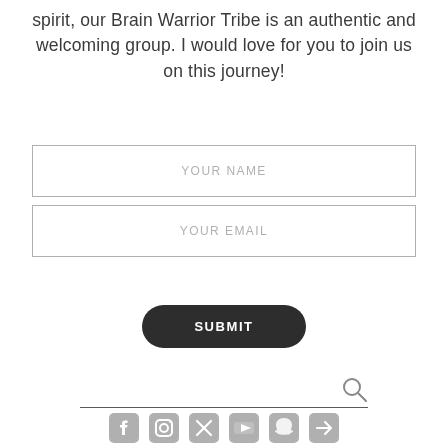spirit, our Brain Warrior Tribe is an authentic and welcoming group. I would love for you to join us on this journey!
[Figure (other): Web form with two input fields labeled YOUR NAME and YOUR EMAIL, a dark rounded SUBMIT button, a search bar with magnifying glass icon, and social media icons at the bottom]